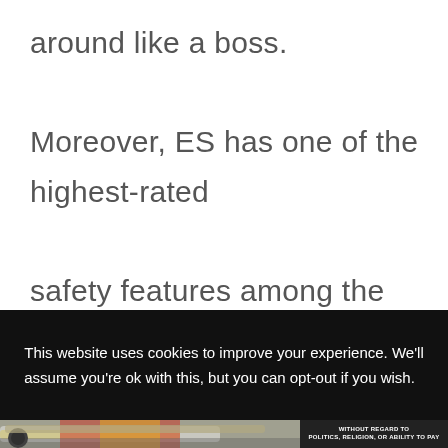around like a boss. Moreover, ES has one of the highest-rated safety features among the vehicles in its segment. All in all, you can never go wrong by choosing the Lexus ES as your next car.
This website uses cookies to improve your experience. We'll assume you're ok with this, but you can opt-out if you wish.
[Figure (photo): Advertisement banner showing a cargo airplane being loaded, with red/yellow livery visible, and a dark sidebar with text 'WITHOUT REGARD TO POLITICS, RELIGION, OR ABILITY TO PAY']